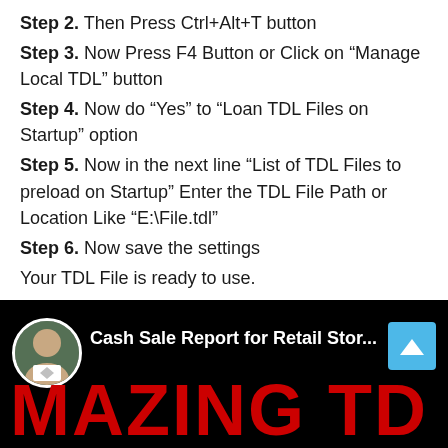Step 2. Then Press Ctrl+Alt+T button
Step 3. Now Press F4 Button or Click on “Manage Local TDL” button
Step 4. Now do “Yes” to “Loan TDL Files on Startup” option
Step 5. Now in the next line “List of TDL Files to preload on Startup” Enter the TDL File Path or Location Like “E:\File.tdl”
Step 6. Now save the settings
Your TDL File is ready to use.
[Figure (screenshot): Video thumbnail showing a person avatar, title 'Cash Sale Report for Retail Stor...', a scroll-to-top button, and the text 'MAZING TD' in large red letters on a black background.]